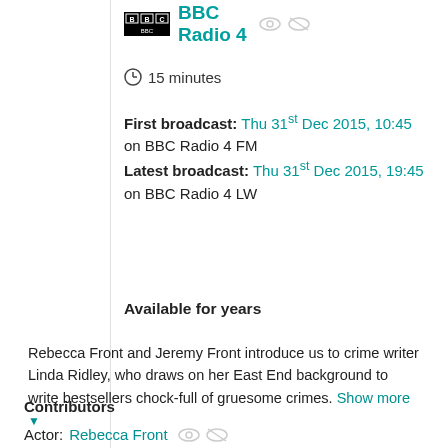[Figure (logo): BBC Radio 4 logo with BBC block logo image and text 'BBC Radio 4' in teal, with two eye/visibility icons]
15 minutes
First broadcast: Thu 31st Dec 2015, 10:45 on BBC Radio 4 FM Latest broadcast: Thu 31st Dec 2015, 19:45 on BBC Radio 4 LW
Available for years
Rebecca Front and Jeremy Front introduce us to crime writer Linda Ridley, who draws on her East End background to write bestsellers chock-full of gruesome crimes. Show more ▼
Contributors
Actor: Rebecca Front